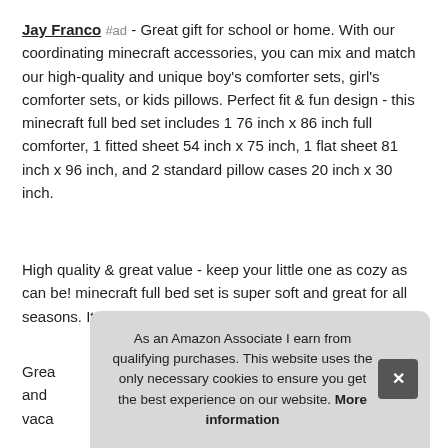Jay Franco #ad - Great gift for school or home. With our coordinating minecraft accessories, you can mix and match our high-quality and unique boy's comforter sets, girl's comforter sets, or kids pillows. Perfect fit & fun design - this minecraft full bed set includes 1 76 inch x 86 inch full comforter, 1 fitted sheet 54 inch x 75 inch, 1 flat sheet 81 inch x 96 inch, and 2 standard pillow cases 20 inch x 30 inch.
High quality & great value - keep your little one as cozy as can be! minecraft full bed set is super soft and great for all seasons. It rolls up for easy storage and travel.
Grea... and... vaca...
As an Amazon Associate I earn from qualifying purchases. This website uses the only necessary cookies to ensure you get the best experience on our website. More information